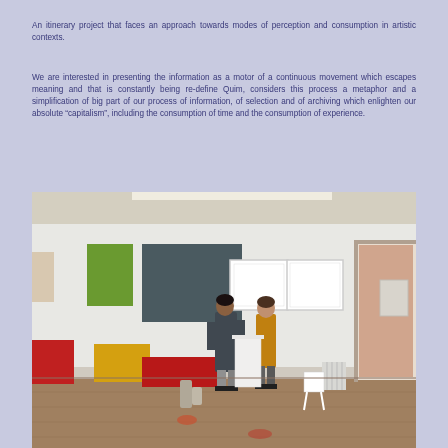An itinerary project that faces an approach towards modes of perception and consumption in artistic contexts.
We are interested in presenting the information as a motor of a continuous movement which escapes meaning and that is constantly being re-define Quim, considers this process a metaphor and a simplification of big part of our process of information, of selection and of archiving which enlighten our absolute “capitalism”, including the consumption of time and the consumption of experience.
[Figure (photo): Two people standing in a gallery space during installation. Colorful rectangular panels (green, dark gray/teal, red, yellow) are mounted on white walls and leaning against them. Various objects are scattered on the wooden floor. A door is visible on the right wall.]